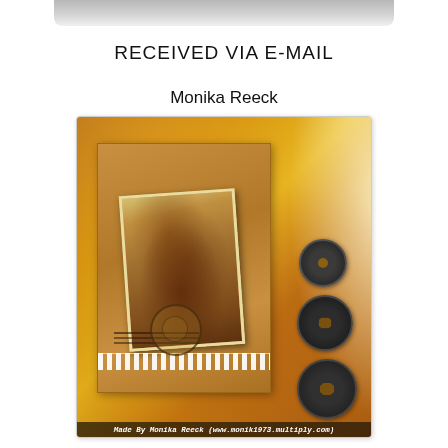RECEIVED VIA E-MAIL
Monika Reeck
[Figure (photo): A handmade greeting card photographed on a wooden surface. The card features a sepia-toned vintage photo of a woman with a dog, mounted on amber/brown marbled decorative paper. Three dark Chinese coins are arranged on the right side of the card. A lace strip and postmark stamp decoration appear at the bottom. The background shows a warm lamp glow.]
Made By Monika Reeck (www.monik1973.multiply.com)